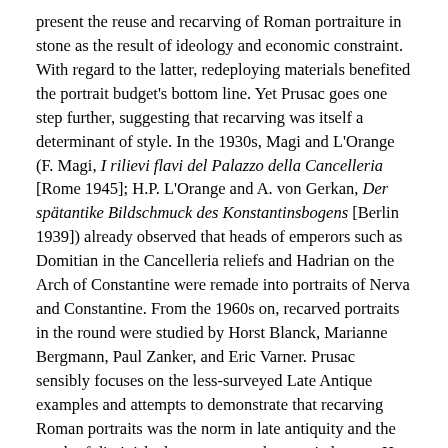present the reuse and recarving of Roman portraiture in stone as the result of ideology and economic constraint. With regard to the latter, redeploying materials benefited the portrait budget's bottom line. Yet Prusac goes one step further, suggesting that recarving was itself a determinant of style. In the 1930s, Magi and L'Orange (F. Magi, I rilievi flavi del Palazzo della Cancelleria [Rome 1945]; H.P. L'Orange and A. von Gerkan, Der spätantike Bildschmuck des Konstantinsbogens [Berlin 1939]) already observed that heads of emperors such as Domitian in the Cancelleria reliefs and Hadrian on the Arch of Constantine were remade into portraits of Nerva and Constantine. From the 1960s on, recarved portraits in the round were studied by Horst Blanck, Marianne Bergmann, Paul Zanker, and Eric Varner. Prusac sensibly focuses on the less-surveyed Late Antique examples and attempts to demonstrate that recarving Roman portraits was the norm in late antiquity and the result of diminished access to newly quarried stone. Her deduction is based on the investigation of 500 recarved Roman portraits, about 235 of which date to late antiquity. She has made an important contribution by collecting the Late Roman material in one place, and her work increases the likelihood that further light may be shed on a perennial question: Did Roman art